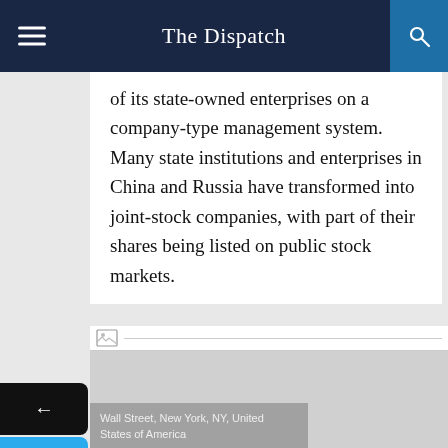The Dispatch
of its state-owned enterprises on a company-type management system. Many state institutions and enterprises in China and Russia have transformed into joint-stock companies, with part of their shares being listed on public stock markets.
[Figure (photo): Wall Street, New York, NY, United States of America — partially loaded image placeholder with caption overlay]
Wall Street, New York, NY, United States of America